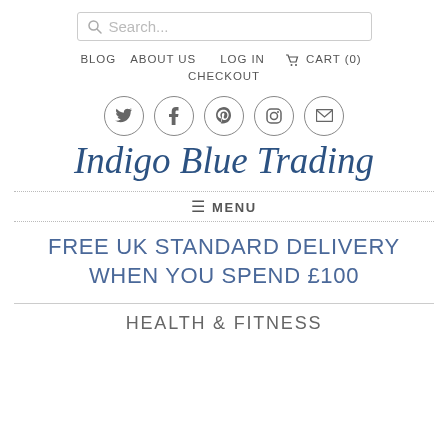[Figure (screenshot): Search bar with magnifying glass icon and placeholder text 'Search...']
BLOG   ABOUT US   LOG IN   🛒 CART (0)   CHECKOUT
[Figure (infographic): Social media icons in circles: Twitter, Facebook, Pinterest, Instagram, Email]
Indigo Blue Trading
≡ MENU
FREE UK STANDARD DELIVERY WHEN YOU SPEND £100
HEALTH & FITNESS